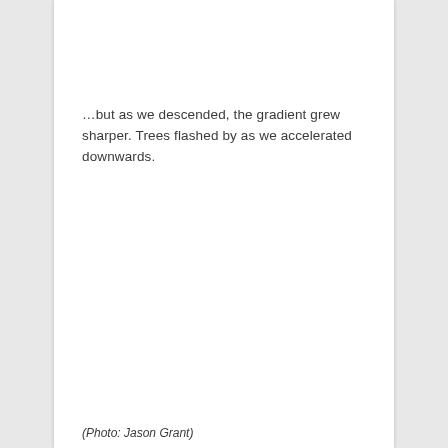…but as we descended, the gradient grew sharper. Trees flashed by as we accelerated downwards.
(Photo: Jason Grant)